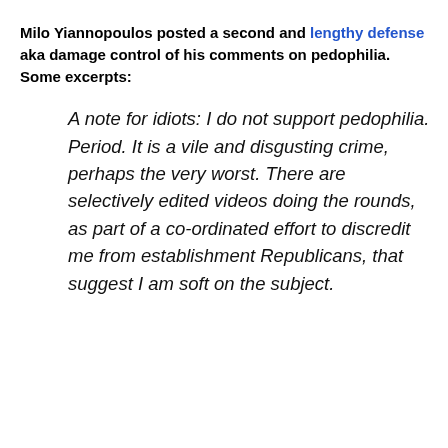Milo Yiannopoulos posted a second and lengthy defense aka damage control of his comments on pedophilia. Some excerpts:
A note for idiots: I do not support pedophilia. Period. It is a vile and disgusting crime, perhaps the very worst. There are selectively edited videos doing the rounds, as part of a co-ordinated effort to discredit me from establishment Republicans, that suggest I am soft on the subject.